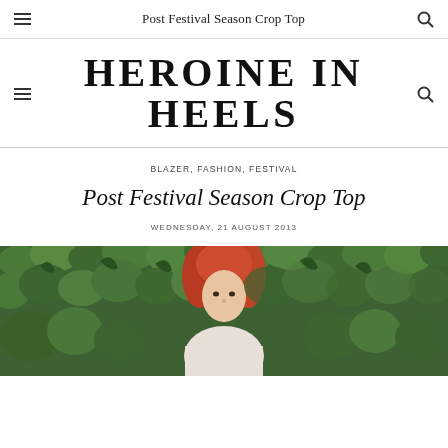Post Festival Season Crop Top
HEROINE IN HEELS
BLAZER, FASHION, FESTIVAL
Post Festival Season Crop Top
WEDNESDAY, 21 AUGUST 2013
[Figure (photo): A woman with red/auburn hair photographed outdoors against a dense green ivy hedge background.]